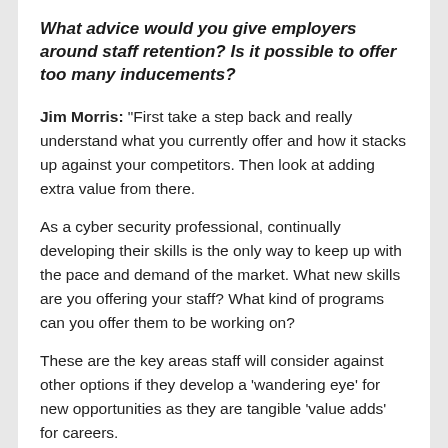What advice would you give employers around staff retention? Is it possible to offer too many inducements?
Jim Morris: “First take a step back and really understand what you currently offer and how it stacks up against your competitors. Then look at adding extra value from there.
As a cyber security professional, continually developing their skills is the only way to keep up with the pace and demand of the market. What new skills are you offering your staff? What kind of programs can you offer them to be working on?
These are the key areas staff will consider against other options if they develop a ‘wandering eye’ for new opportunities as they are tangible ‘value adds’ for careers.
It can be easy to get swept up in the price/wage wars,